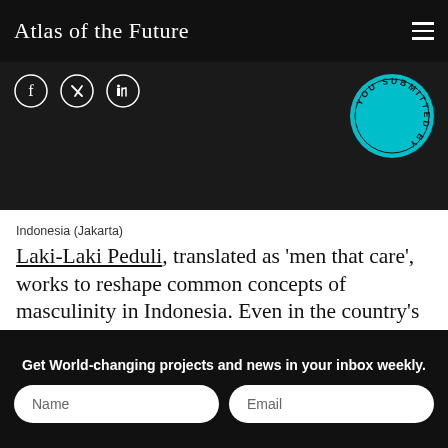Atlas of the Future
[Figure (infographic): Social media share icons (Facebook, Twitter/X, LinkedIn) on dark background, with a cyan circular badge stamp reading 'SUBMITTED BY YOU']
Indonesia (Jakarta)
Laki-Laki Peduli, translated as 'men that care', works to reshape common concepts of masculinity in Indonesia. Even in the country's booming urban areas, studies show that traditional 'male
Get World-changing projects and news in your inbox weekly.
Name
Email